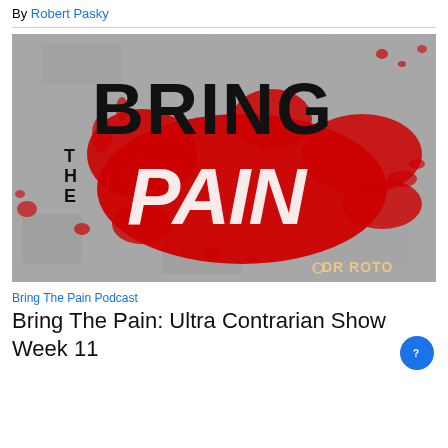By Robert Pasky
[Figure (illustration): Bring The Pain podcast logo on a grunge concrete background. Large bold black text reads BRING at top, with smaller black text THE stacked vertically on the left. Large red splatter design with white italic text PAIN overlaid. DR ROTO watermark in bottom right corner.]
Bring The Pain Podcast
Bring The Pain: Ultra Contrarian Show Week 11